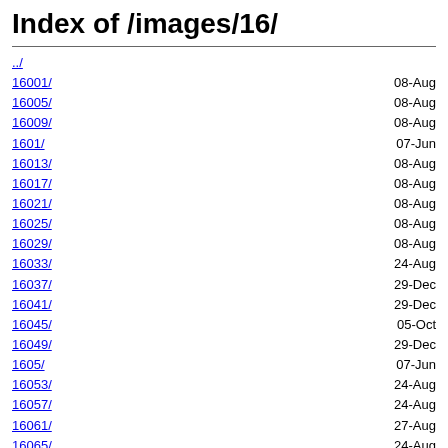Index of /images/16/
../
16001/  08-Aug
16005/  08-Aug
16009/  08-Aug
1601/   07-Jun
16013/  08-Aug
16017/  08-Aug
16021/  08-Aug
16025/  08-Aug
16029/  08-Aug
16033/  24-Aug
16037/  29-Dec
16041/  29-Dec
16045/  05-Oct
16049/  29-Dec
1605/   07-Jun
16053/  24-Aug
16057/  24-Aug
16061/  27-Aug
16065/  24-Aug
16073/  21-Aug
16077/  05-Oct
16081/  23-Oct
16085/  23-Oct
16089/  23-Oct